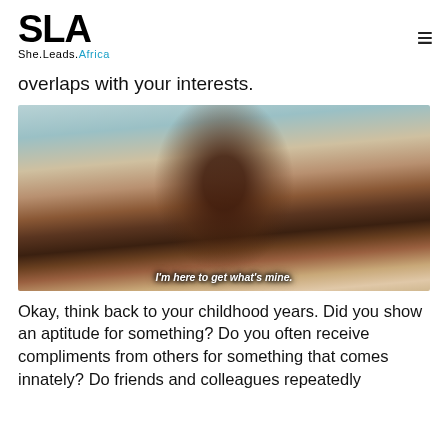SLA She.Leads.Africa
overlaps with your interests.
[Figure (photo): Close-up photo of a woman with long dark hair, red lipstick, and gold hoop earrings, looking sideways. Subtitle text reads: I'm here to get what's mine.]
I'm here to get what's mine.
Okay, think back to your childhood years. Did you show an aptitude for something? Do you often receive compliments from others for something that comes innately? Do friends and colleagues repeatedly